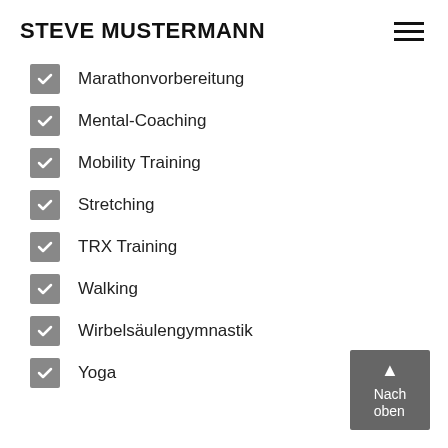STEVE MUSTERMANN
Marathonvorbereitung
Mental-Coaching
Mobility Training
Stretching
TRX Training
Walking
Wirbelsäulengymnastik
Yoga